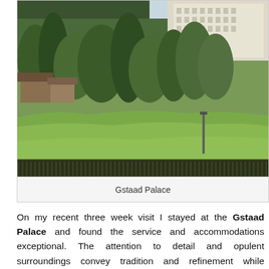[Figure (photo): Landscape photo of Gstaad Palace hotel visible above lush green trees and lawn, with forested mountains in the background and a wooden fence in the foreground.]
Gstaad Palace
On my recent three week visit I stayed at the Gstaad Palace and found the service and accommodations exceptional. The attention to detail and opulent surroundings convey tradition and refinement while embracing modern day technology.
[Figure (photo): Partial photo showing rooftops of traditional Swiss chalet buildings with mountains visible in the background.]